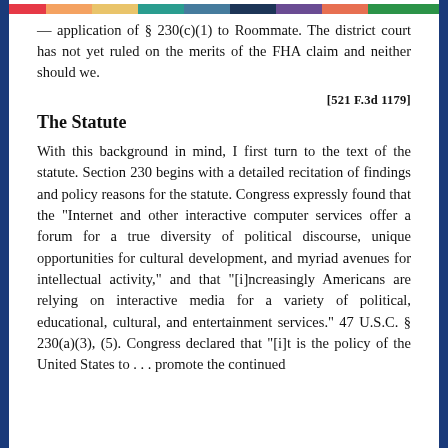— application of § 230(c)(1) to Roommate. The district court has not yet ruled on the merits of the FHA claim and neither should we.
[521 F.3d 1179]
The Statute
With this background in mind, I first turn to the text of the statute. Section 230 begins with a detailed recitation of findings and policy reasons for the statute. Congress expressly found that the "Internet and other interactive computer services offer a forum for a true diversity of political discourse, unique opportunities for cultural development, and myriad avenues for intellectual activity," and that "[i]ncreasingly Americans are relying on interactive media for a variety of political, educational, cultural, and entertainment services." 47 U.S.C. § 230(a)(3), (5). Congress declared that "[i]t is the policy of the United States to . . . promote the continued development of the Internet and other interactive